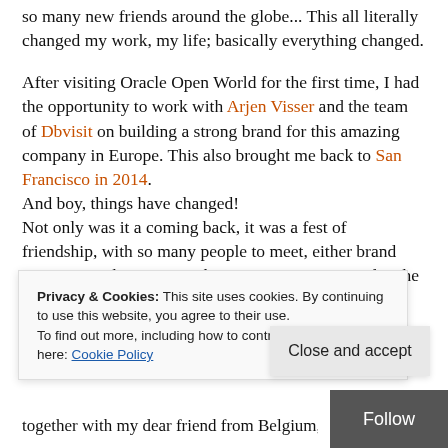so many new friends around the globe... This all literally changed my work, my life; basically everything changed.
After visiting Oracle Open World for the first time, I had the opportunity to work with Arjen Visser and the team of Dbvisit on building a strong brand for this amazing company in Europe. This also brought me back to San Francisco in 2014.
And boy, things have changed!
Not only was it a coming back, it was a fest of friendship, with so many people to meet, either brand new or in a chance to catchup once again. It was also the first time I had the opportunity to participate & share. With #RepAttack I had the opportunity to share knowledge
Privacy & Cookies: This site uses cookies. By continuing to use this website, you agree to their use.
To find out more, including how to control cookies, see here: Cookie Policy
Close and accept
Follow
together with my dear friend from Belgium, mr. Fr